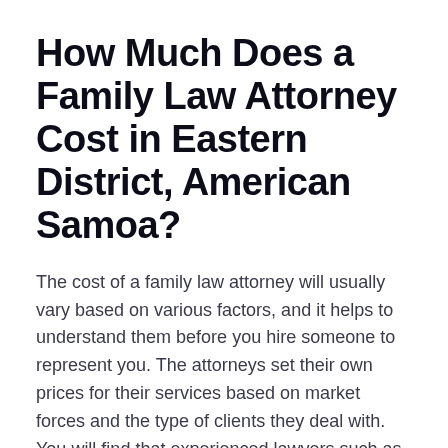How Much Does a Family Law Attorney Cost in Eastern District, American Samoa?
The cost of a family law attorney will usually vary based on various factors, and it helps to understand them before you hire someone to represent you. The attorneys set their own prices for their services based on market forces and the type of clients they deal with. You will find that experienced lawyers such as Certified Family Law Specialists might charge a higher hourly fee, and the high cost provides added